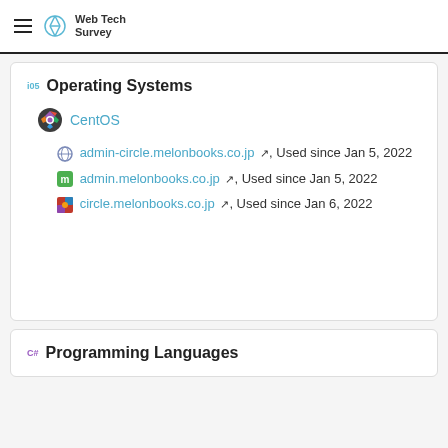Web Tech Survey
105 Operating Systems
CentOS
admin-circle.melonbooks.co.jp, Used since Jan 5, 2022
admin.melonbooks.co.jp, Used since Jan 5, 2022
circle.melonbooks.co.jp, Used since Jan 6, 2022
C# Programming Languages